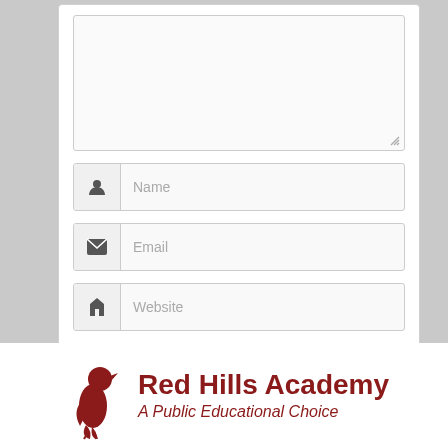[Figure (screenshot): Web comment form with textarea, Name, Email, Website input fields and Post Comment button]
[Figure (logo): Red Hills Academy logo with a bird silhouette and text 'Red Hills Academy - A Public Educational Choice']